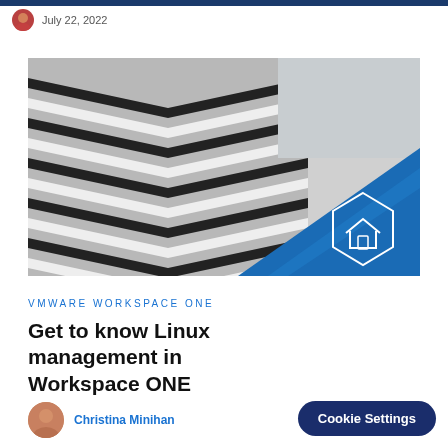July 22, 2022
[Figure (photo): Architectural photo of a building with bold black and white zigzag/chevron pattern facade, with a blue diagonal overlay in the bottom-right corner containing a white house/device icon]
VMware Workspace ONE
Get to know Linux management in Workspace ONE
Christina Minihan
Cookie Settings